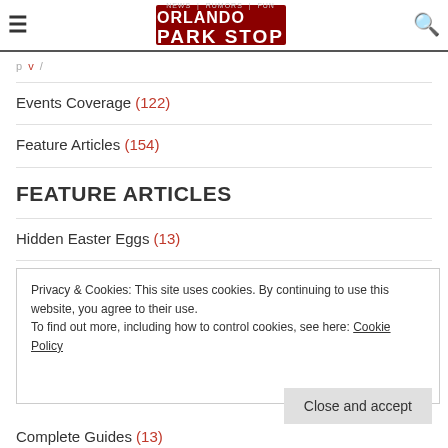Orlando Park Stop
p v /
Events Coverage (122)
Feature Articles (154)
FEATURE ARTICLES
Hidden Easter Eggs (13)
Privacy & Cookies: This site uses cookies. By continuing to use this website, you agree to their use. To find out more, including how to control cookies, see here: Cookie Policy
Close and accept
Complete Guides (13)